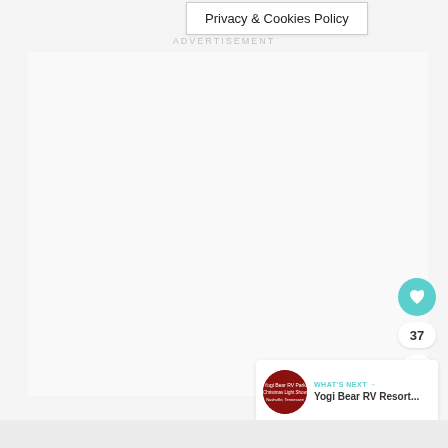Privacy & Cookies Policy
ADVERTISEMENT
[Figure (other): Empty advertisement placeholder area]
[Figure (other): Heart/favorite button (teal circle with heart icon)]
37
[Figure (other): Share button (white circle with share icon)]
[Figure (other): What's Next card with Yogi Bear RV Resort thumbnail and title]